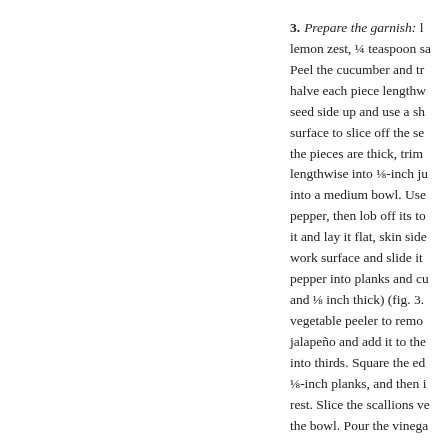3. Prepare the garnish: lemon zest, ¼ teaspoon sa Peel the cucumber and tr halve each piece lengthw seed side up and use a sh surface to slice off the se the pieces are thick, trim lengthwise into ⅛-inch ju into a medium bowl. Use pepper, then lob off its to it and lay it flat, skin side work surface and slide it pepper into planks and cu and ⅛ inch thick) (fig. 3. vegetable peeler to remo jalapeño and add it to the into thirds. Square the ed ⅛-inch planks, and then rest. Slice the scallions v the bowl. Pour the vinega